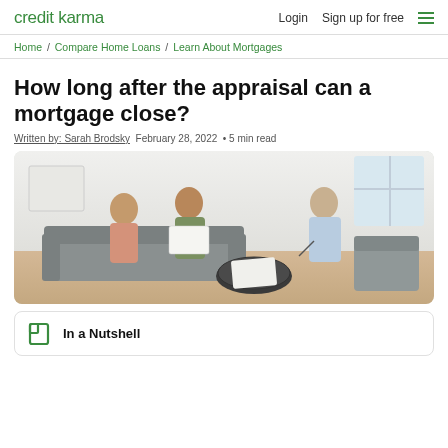credit karma  Login  Sign up for free
Home / Compare Home Loans / Learn About Mortgages
How long after the appraisal can a mortgage close?
Written by: Sarah Brodsky  February 28, 2022  • 5 min read
[Figure (photo): Two people sitting on a couch reviewing documents with a financial advisor sitting across from them in a bright office setting]
In a Nutshell